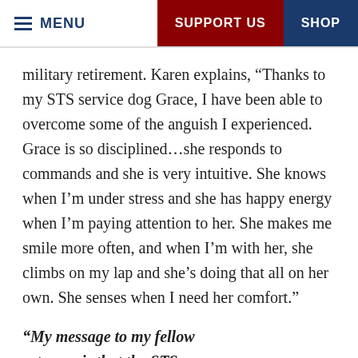MENU | SUPPORT US | SHOP
military retirement. Karen explains, “Thanks to my STS service dog Grace, I have been able to overcome some of the anguish I experienced. Grace is so disciplined…she responds to commands and she is very intuitive. She knows when I’m under stress and she has happy energy when I’m paying attention to her. She makes me smile more often, and when I’m with her, she climbs on my lap and she’s doing that all on her own. She senses when I need her comfort.”
“My message to my fellow veterans is that the STS program is for everyone, and you’re never too old to ask for help.”